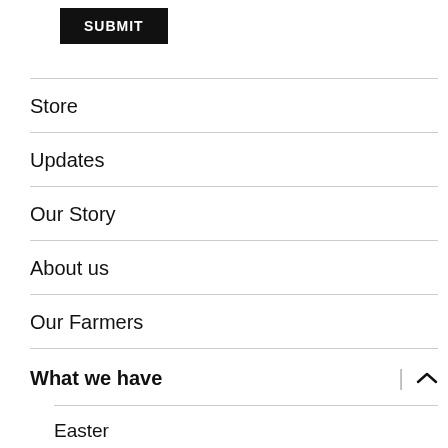SUBMIT
Store
Updates
Our Story
About us
Our Farmers
What we have
Easter
Selections (partial)